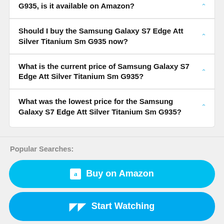G935, is it available on Amazon?
Should I buy the Samsung Galaxy S7 Edge Att Silver Titanium Sm G935 now?
What is the current price of Samsung Galaxy S7 Edge Att Silver Titanium Sm G935?
What was the lowest price for the Samsung Galaxy S7 Edge Att Silver Titanium Sm G935?
Popular Searches:
Buy on Amazon
Start Watching